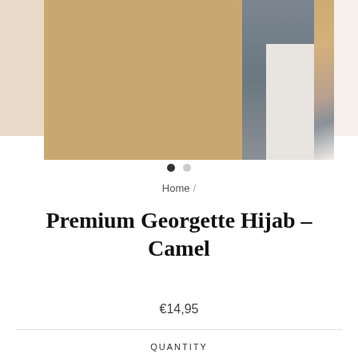[Figure (photo): Product photo of a camel/tan colored hijab fabric draped, with a dark grey stripe visible and white fabric, shown close-up against a beige background]
Home /
Premium Georgette Hijab - Camel
€14,95
QUANTITY